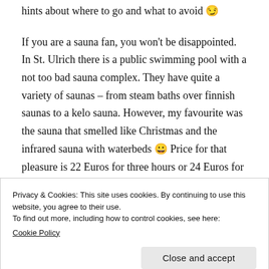hints about where to go and what to avoid 😉
If you are a sauna fan, you won't be disappointed. In St. Ulrich there is a public swimming pool with a not too bad sauna complex. They have quite a variety of saunas – from steam baths over finnish saunas to a kelo sauna. However, my favourite was the sauna that smelled like Christmas and the infrared sauna with waterbeds 😀 Price for that pleasure is 22 Euros for three hours or 24 Euros for the
Privacy & Cookies: This site uses cookies. By continuing to use this website, you agree to their use.
To find out more, including how to control cookies, see here: Cookie Policy
Covid safety measures